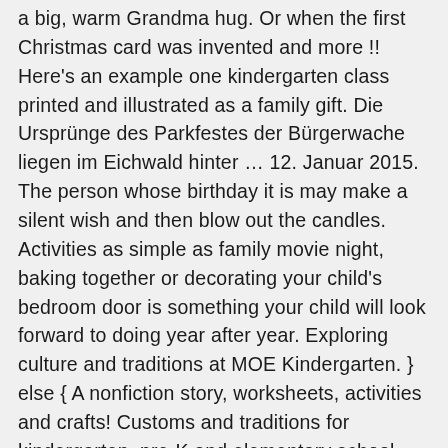a big, warm Grandma hug. Or when the first Christmas card was invented and more !! Here's an example one kindergarten class printed and illustrated as a family gift. Die Ursprünge des Parkfestes der Bürgerwache liegen im Eichwald hinter … 12. Januar 2015. The person whose birthday it is may make a silent wish and then blow out the candles. Activities as simple as family movie night, baking together or decorating your child's bedroom door is something your child will look forward to doing year after year. Exploring culture and traditions at MOE Kindergarten. } else { A nonfiction story, worksheets, activities and crafts! Customs and traditions for kindergarten, pre-K and elementary school children . Poland - Culture (Nicolaus Copernicus) (Grades 4-6) Turkey - Culture (Grades 4-7) (Grades 4-7) ... Kindergarten First Grade Second Grade Third Grade Fourth Grade Fifth Grade Sixth Grade: Multiplication Division Main Idea Cause and Effect Measurement Decimals Rounding Order of Operations Verbs Community Helpers Adjectives Plants Grammar Addition and Subtraction Contractions Bulletin Board … Activity. Aber Kroatien achtet nicht nur auf Folklore und Tradition. //